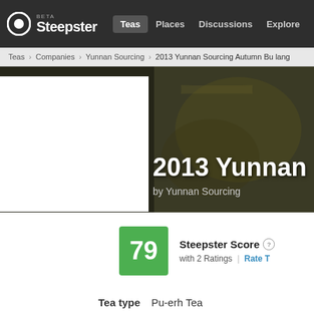Steepster BETA | Teas | Places | Discussions | Explore
Teas › Companies › Yunnan Sourcing › 2013 Yunnan Sourcing Autumn Bu lang
[Figure (photo): Hero banner with dark olive/brown background showing tea imagery, white product image box on left, title text on right]
2013 Yunnan
by Yunnan Sourcing
79 Steepster Score | with 2 Ratings | Rate T
| Field | Value |
| --- | --- |
| Tea type | Pu-erh Tea |
| Ingredients | Not available |